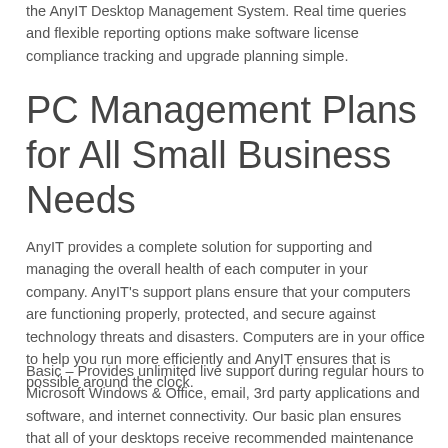the AnyIT Desktop Management System. Real time queries and flexible reporting options make software license compliance tracking and upgrade planning simple.
PC Management Plans for All Small Business Needs
AnyIT provides a complete solution for supporting and managing the overall health of each computer in your company. AnyIT's support plans ensure that your computers are functioning properly, protected, and secure against technology threats and disasters. Computers are in your office to help you run more efficiently and AnyIT ensures that is possible around the clock.
Basic – Provides unlimited live support during regular hours to Microsoft Windows & Office, email, 3rd party applications and software, and internet connectivity. Our basic plan ensures that all of your desktops receive recommended maintenance and security.